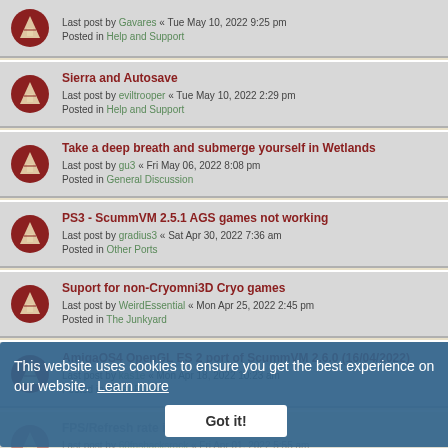Sierra and Autosave
Last post by eviltrooper « Tue May 10, 2022 2:29 pm
Posted in Help and Support
Take a deep breath and submerge yourself in Wetlands
Last post by gu3 « Fri May 06, 2022 8:08 pm
Posted in General Discussion
PS3 - ScummVM 2.5.1 AGS games not working
Last post by gradius3 « Sat Apr 30, 2022 7:36 am
Posted in Other Ports
Suport for non-Cryomni3D Cryo games
Last post by WeirdEssential « Mon Apr 25, 2022 2:45 pm
Posted in The Junkyard
AmigaOS4 OpenGL ES 2 port of ScummVM 2.6.0 (16/04/2022)
Last post by kas1e « Mon Apr 18, 2022 10:23 am
Posted in Other Ports
FPS/Refresh rate issue
Last post by 60fpshacksrock « Fri Apr 01, 2022 5:55 am
Posted in Wii Port
FPS/Refresh rate issue
Last post by 60fpshacksrock « Fri Apr 01, 2022 5:16 am
Posted in Wii Port
Scummvm 2.5.1 OMG Thank You!
Last post by EstelRandir « Tue Mar 22, 2022 1:16 am
Posted in General Discussion
This website uses cookies to ensure you get the best experience on our website. Learn more
Got it!